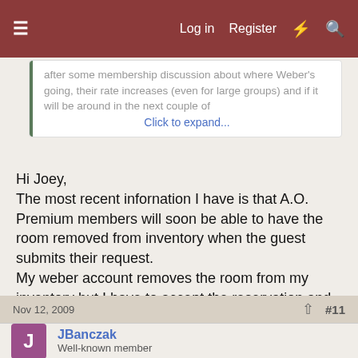≡  Log in  Register  ⚡  🔍
after some membership discussion about where Weber's going, their rate increases (even for large groups) and if it will be around in the next couple of
Click to expand...
Hi Joey,
The most recent infornation I have is that A.O. Premium members will soon be able to have the room removed from inventory when the guest submits their request.
My weber account removes the room from my inventory but I have to accept the reservation and send the automated confirmation. Which is how I prefer it, and Availability Online works the same way.
Hope that helps.
Nov 12, 2009   #11
JBanczak
Well-known member